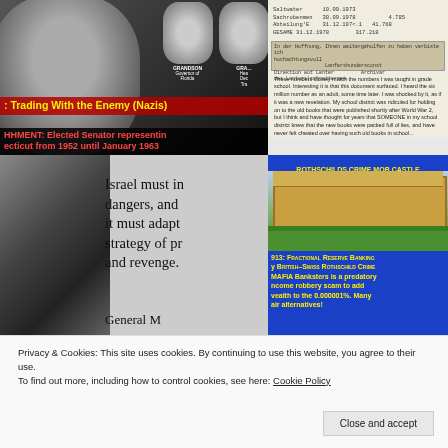[Figure (photo): Top-left collage: black-and-white portrait of older man, with smaller photos of men labeled GRANDSON, Governor of Florida. Red and black text overlay bars.]
Trading With the Enemy (Nazis)
Elected Senator representing ecticut from 1952 until January 1963
[Figure (photo): Top-right: Scanned German-language document with numeric table data, followed by English text paragraph about six million number and school district books.]
These numbers closely match the numbers I was taught in grade school. Interesting it is that this document surfaced. I heard the six million number as an adult, some time later. I was shocked by it, as if it was a new revelation. My school district was ridiculed for holding on to the old books that were published shortly after World War 2, but I think and have thought for years that SOMEONE in my school district knew that the new books were packed full of lies, and have never felt cheated over having such old books in school.
[Figure (photo): Mid-left: Black-and-white portrait of man with eye patch, large serif quote text: Israel must in dangers, and it must adapt strategy of pr and revenge. General M]
Israel must in dangers, and it must adapt strategy of pr and revenge. General M
[Figure (photo): Mid-right: Blue background with yellow label ROTHSCHILDS CRIME MOB CASTLE, photo of a large ornate castle/manor with garden, followed by yellow text about 1913: Fractional Reserve Banking by British-Swiss Rothschild Crime MAFIA Banksters is a predatory income robbery scam to add wealth to the 0.000001%. Many fair alternatives!]
ROTHSCHILDS CRIME MOB CASTLE
1913: Fractional Reserve Banking by British-Swiss Rothschild Crime MAFIA Banksters is a predatory income robbery scam to add wealth to the 0.000001%. Many fair alternatives!
Privacy & Cookies: This site uses cookies. By continuing to use this website, you agree to their use.
To find out more, including how to control cookies, see here: Cookie Policy
Close and accept